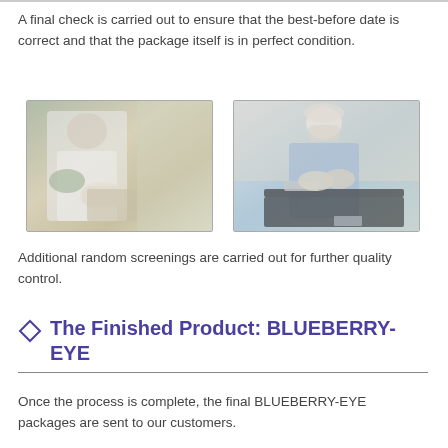A final check is carried out to ensure that the best-before date is correct and that the package itself is in perfect condition.
[Figure (photo): Two photos side by side: left photo shows a person in lab coat and gloves handling a package; right photo shows a person in blue scrubs, mask, and cap checking items on a tray.]
Additional random screenings are carried out for further quality control.
The Finished Product: BLUEBERRY-EYE
Once the process is complete, the final BLUEBERRY-EYE packages are sent to our customers.